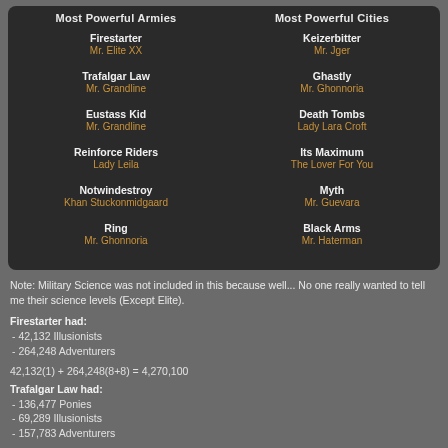Most Powerful Armies
Most Powerful Cities
Firestarter
Mr. Elite XX
Keizerbitter
Mr. Jger
Trafalgar Law
Mr. Grandline
Ghastly
Mr. Ghonnoria
Eustass Kid
Mr. Grandline
Death Tombs
Lady Lara Croft
Reinforce Riders
Lady Leila
Its Maximum
The Lover For You
Notwindestroy
Khan Stuckonmidgaard
Myth
Mr. Guevara
Ring
Mr. Ghonnoria
Black Arms
Mr. Haterman
Note: Military Science was not included in this because well... No one really wanted to tell me their science levels (Except Elite).
Firestarter had:
- 42,132 Illusionists
- 264,248 Adventurers
Trafalgar Law had:
- 136,477 Ponies
- 69,289 Illusionists
- 157,783 Adventurers